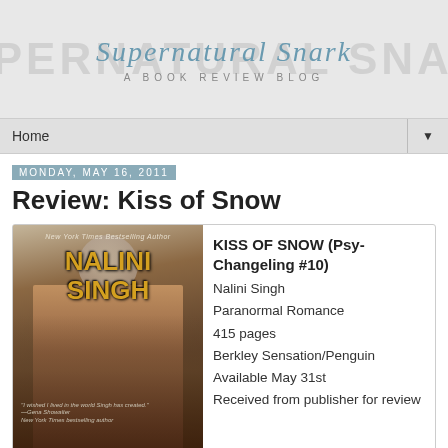Supernatural Snark — A Book Review Blog
Home
Monday, May 16, 2011
Review: Kiss of Snow
[Figure (photo): Book cover of Kiss of Snow by Nalini Singh showing a muscular man and a moon]
KISS OF SNOW (Psy-Changeling #10)
Nalini Singh
Paranormal Romance
415 pages
Berkley Sensation/Penguin
Available May 31st
Received from publisher for review